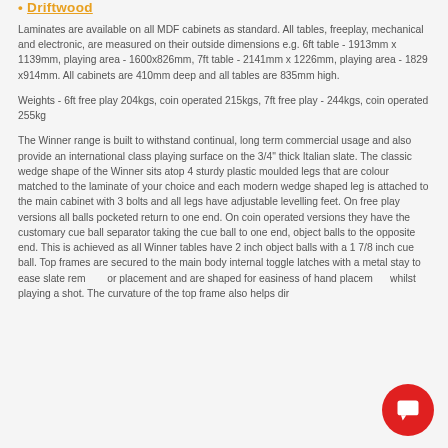Driftwood
Laminates are available on all MDF cabinets as standard.  All tables, freeplay, mechanical and electronic, are measured on their outside dimensions e.g. 6ft table - 1913mm x 1139mm, playing area - 1600x826mm, 7ft table - 2141mm x 1226mm, playing area - 1829 x914mm.  All cabinets are 410mm deep and all tables are 835mm high.
Weights - 6ft free play 204kgs, coin operated 215kgs, 7ft free play - 244kgs, coin operated 255kg
The Winner range is built to withstand continual, long term commercial usage and also provide an international class playing surface on the 3/4" thick Italian slate. The classic wedge shape of the Winner sits atop 4 sturdy plastic moulded legs that are colour matched to the laminate of your choice and each modern wedge shaped leg is attached to the main cabinet with 3 bolts and all legs have adjustable levelling feet. On free play versions all balls pocketed return to one end. On coin operated versions they have the customary cue ball separator taking the cue ball to one end, object balls to the opposite end. This is achieved as all Winner tables have 2 inch object balls with a 1 7/8 inch cue ball. Top frames are secured to the main body internal toggle latches with a metal stay to ease slate removal or placement and are shaped for easiness of hand placement whilst playing a shot. The curvature of the top frame also helps direct smooth...